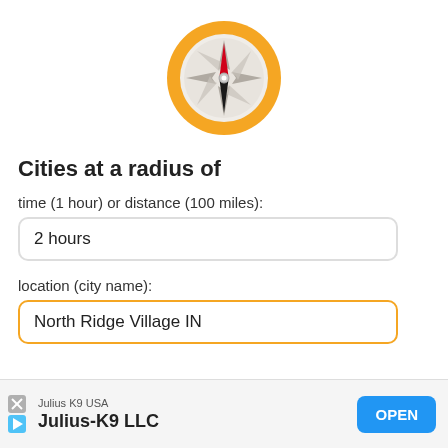[Figure (illustration): Compass icon with orange ring, compass rose with red/black/gray needle, on white background]
Cities at a radius of
time (1 hour) or distance (100 miles):
2 hours
location (city name):
North Ridge Village IN
[Figure (other): Advertisement bar: Julius K9 USA / Julius-K9 LLC with OPEN button and X/play icons]